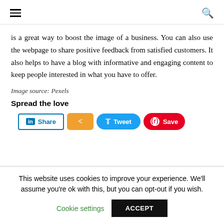≡  🔍
is a great way to boost the image of a business. You can also use the webpage to share positive feedback from satisfied customers. It also helps to have a blog with informative and engaging content to keep people interested in what you have to offer.
Image source: Pexels
Spread the love
[Figure (other): Social share buttons: LinkedIn Share, orange share button, Tweet button, Pinterest Save button]
This website uses cookies to improve your experience. We'll assume you're ok with this, but you can opt-out if you wish.
Cookie settings   ACCEPT